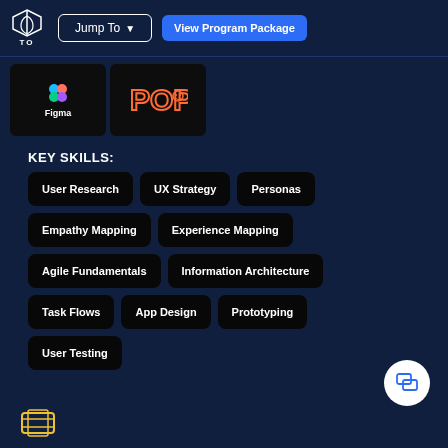Jump To | View Program Package
[Figure (illustration): Figma logo card and POP logo card shown as dark square tiles]
KEY SKILLS:
User Research
UX Strategy
Personas
Empathy Mapping
Experience Mapping
Agile Fundamentals
Information Architecture
Task Flows
App Design
Prototyping
User Testing